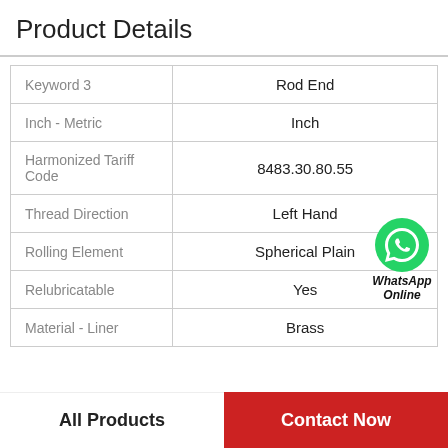Product Details
| Property | Value |
| --- | --- |
| Keyword 3 | Rod End |
| Inch - Metric | Inch |
| Harmonized Tariff Code | 8483.30.80.55 |
| Thread Direction | Left Hand |
| Rolling Element | Spherical Plain |
| Relubricatable | Yes |
| Material - Liner | Brass |
[Figure (logo): WhatsApp Online green phone icon badge with italic bold text 'WhatsApp Online']
All Products    Contact Now